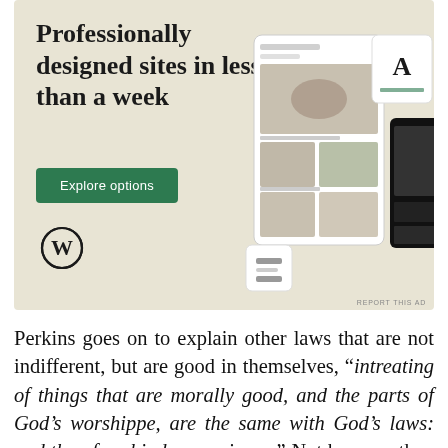[Figure (infographic): Advertisement for WordPress: 'Professionally designed sites in less than a week' with a green 'Explore options' button, WordPress logo, and mockup screenshots of websites on a beige background.]
Perkins goes on to explain other laws that are not indifferent, but are good in themselves, “intreating of things that are morally good, and the parts of God’s worshippe, are the same with God’s laws: and therefore binde conscience.” Not because they are enacted by men, but because they are God’s laws and morally binding on all